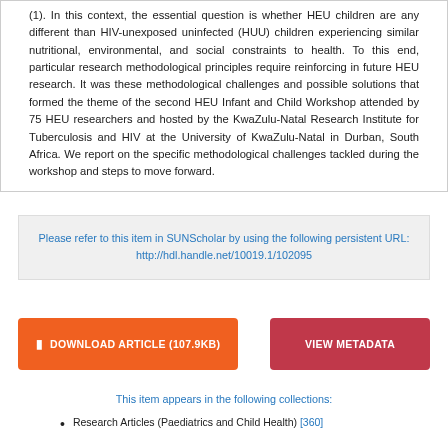(1). In this context, the essential question is whether HEU children are any different than HIV-unexposed uninfected (HUU) children experiencing similar nutritional, environmental, and social constraints to health. To this end, particular research methodological principles require reinforcing in future HEU research. It was these methodological challenges and possible solutions that formed the theme of the second HEU Infant and Child Workshop attended by 75 HEU researchers and hosted by the KwaZulu-Natal Research Institute for Tuberculosis and HIV at the University of KwaZulu-Natal in Durban, South Africa. We report on the specific methodological challenges tackled during the workshop and steps to move forward.
Please refer to this item in SUNScholar by using the following persistent URL: http://hdl.handle.net/10019.1/102095
DOWNLOAD ARTICLE (107.9KB)
VIEW METADATA
This item appears in the following collections:
Research Articles (Paediatrics and Child Health) [360]